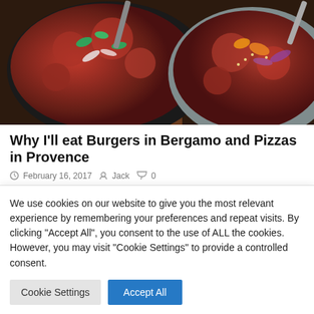[Figure (photo): Two dark metal/steel pans filled with rich red tomato-based Indian/curry dishes garnished with fresh herbs and onions, photographed from above on a dark wooden surface]
Why I'll eat Burgers in Bergamo and Pizzas in Provence
February 16, 2017  Jack  0
Is there a law which says if we want to be considered
We use cookies on our website to give you the most relevant experience by remembering your preferences and repeat visits. By clicking "Accept All", you consent to the use of ALL the cookies. However, you may visit "Cookie Settings" to provide a controlled consent.